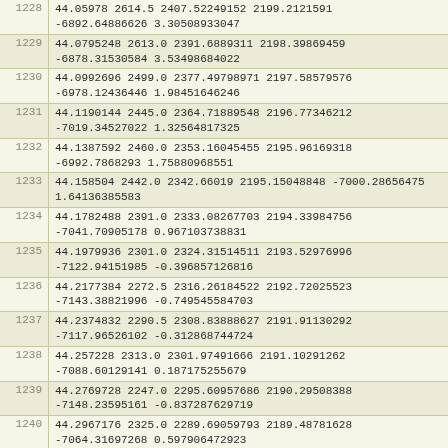| index | values |
| --- | --- |
| 1228 | 44.05978 2614.5 2407.52249152 2199.2121591
-6892.64886626 3.30508933047 |
| 1229 | 44.0795248 2613.0 2391.6889311 2198.39869459
-6878.31530584 3.53498684022 |
| 1230 | 44.0992696 2499.0 2377.49798971 2197.58579576
-6978.12436446 1.98451646246 |
| 1231 | 44.1190144 2445.0 2364.71889548 2196.77346212
-7019.34527022 1.32564817325 |
| 1232 | 44.1387592 2460.0 2353.16045455 2195.96169318
-6992.7868293 1.75880968551 |
| 1233 | 44.158504 2442.0 2342.66019 2195.15048848 -7000.28656475
1.64136385583 |
| 1234 | 44.1782488 2391.0 2333.08267703 2194.33984756
-7041.70905178 0.967103738831 |
| 1235 | 44.1979936 2301.0 2324.31514511 2193.52976996
-7122.94151985 -0.396857126816 |
| 1236 | 44.2177384 2272.5 2316.26184522 2192.72025523
-7143.38821996 -0.749545584703 |
| 1237 | 44.2374832 2290.5 2308.83888627 2191.91130292
-7117.96526102 -0.312868744724 |
| 1238 | 44.257228 2313.0 2301.97491666 2191.10291262
-7088.60129141 0.187175255679 |
| 1239 | 44.2769728 2247.0 2295.60957686 2190.29508388
-7148.23595161 -0.837287629719 |
| 1240 | 44.2967176 2325.0 2289.69059793 2189.48781628
-7064.31697268 0.597906472923 |
| 1241 | 44.3164624 2292.0 2284.17092753 2188.68110943
-7091.79730227 0.133523398356 |
| 1242 | 44.3362072 2173.5 2279.01013125 2187.8749629
-7205.13650599 -1.84785849779 |
| 1243 | 44.355952 2193.0 2274.17403199 2187.06937631
-7180.80040674 -1.41531194798 |
| 1244 | 44.3756968 2263.5 2269.63083514 2186.26434926
-7105.75720988 -0.105216477696 |
| 1245 | 44.3954416 2301.0 2265.35303701 2185.45988136 |